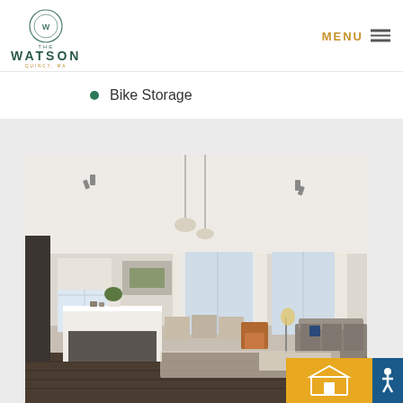[Figure (logo): The Watson Quincy MA logo with circular emblem]
MENU
Bike Storage
[Figure (photo): Interior photo of a modern open-concept apartment living room and kitchen with track lighting, pendant lights, kitchen island, dining area, and living room furniture with large windows]